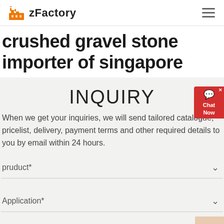zFactory
crushed gravel stone importer of singapore
INQUIRY
When we get your inquiries, we will send tailored catalogue, pricelist, delivery, payment terms and other required details to you by email within 24 hours.
pruduct*
Application*
Capacity*